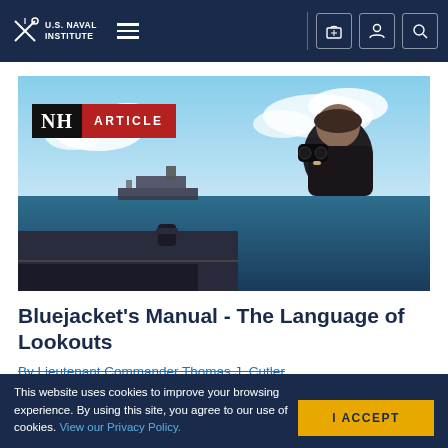U.S. Naval Institute
[Figure (photo): A naval officer looking through binoculars on the deck of a ship, with another warship visible in the background on the ocean. Badge overlay reads 'NH ARTICLE'.]
Bluejacket's Manual - The Language of Lookouts
By Lieutenant Commander Thomas J. Cutler
This website uses cookies to improve your browsing experience. By using this site, you agree to our use of cookies. View our Privacy Policy.